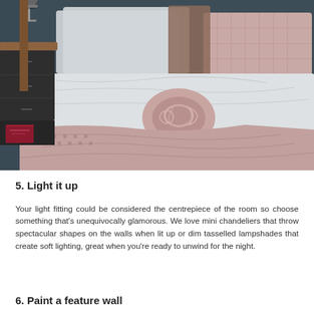[Figure (photo): Styled bedroom scene showing a bed with light grey linen, a mauve/blush knitted circular pillow, a pink textured throw blanket draped over the bed, a dark quilted cushion, a wooden bedside table with a lamp, and dark drawers below. A book is visible on the lower shelf of the bedside table.]
5. Light it up
Your light fitting could be considered the centrepiece of the room so choose something that’s unequivocally glamorous. We love mini chandeliers that throw spectacular shapes on the walls when lit up or dim tasselled lampshades that create soft lighting, great when you’re ready to unwind for the night.
6. Paint a feature wall